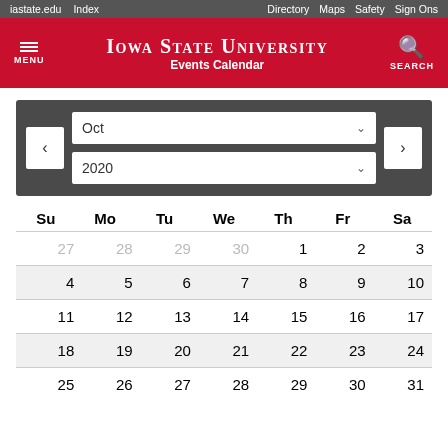iastate.edu  Index  Directory  Maps  Safety  Sign Ons
Iowa State University Events Calendar
[Figure (other): Calendar navigation with month selector (Oct) and year selector (2020), with back and forward arrow buttons]
| Su | Mo | Tu | We | Th | Fr | Sa |
| --- | --- | --- | --- | --- | --- | --- |
| 27 | 28 | 29 | 30 | 1 | 2 | 3 |
| 4 | 5 | 6 | 7 | 8 | 9 | 10 |
| 11 | 12 | 13 | 14 | 15 | 16 | 17 |
| 18 | 19 | 20 | 21 | 22 | 23 | 24 |
| 25 | 26 | 27 | 28 | 29 | 30 | 31 |